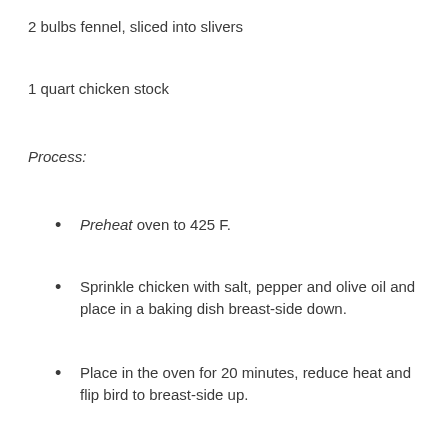2 bulbs fennel, sliced into slivers
1 quart chicken stock
Process:
Preheat oven to 425 F.
Sprinkle chicken with salt, pepper and olive oil and place in a baking dish breast-side down.
Place in the oven for 20 minutes, reduce heat and flip bird to breast-side up.